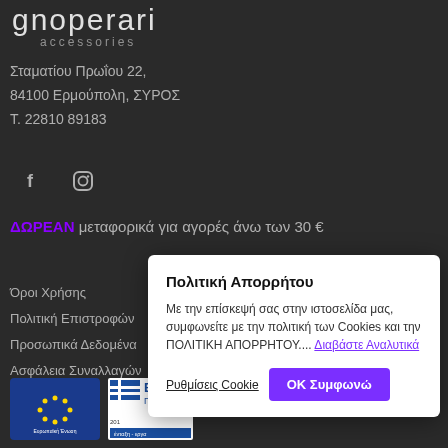[Figure (logo): gnoperari accessories logo in white/light on dark background]
Σταματίου Πρωΐου 22,
84100 Ερμούπολη, ΣΥΡΟΣ
Τ. 22810 89183
[Figure (illustration): Social media icons: Facebook and Instagram]
ΔΩΡΕΑΝ μεταφορικά για αγορές άνω των 30 €
Όροι Χρήσης
Πολιτική Επιστροφών
Προσωπικά Δεδομένα
Ασφάλεια Συναλλαγών
Επικοινωνία
[Figure (logo): EU logos: Ευρωπαϊκή Ένωση - Ευρωπαϊκό Ταμείο Περιφερειακής Ανάπτυξης, and ΕΣΠΑ 2014-2020 ένταξη - εργα]
Πολιτική Απορρήτου
Με την επίσκεψή σας στην ιστοσελίδα μας, συμφωνείτε με την πολιτική των Cookies και την ΠΟΛΙΤΙΚΗ ΑΠΟΡΡΗΤΟΥ.... Διαβάστε Αναλυτικά
Ρυθμίσεις Cookie
ΟΚ Συμφωνώ